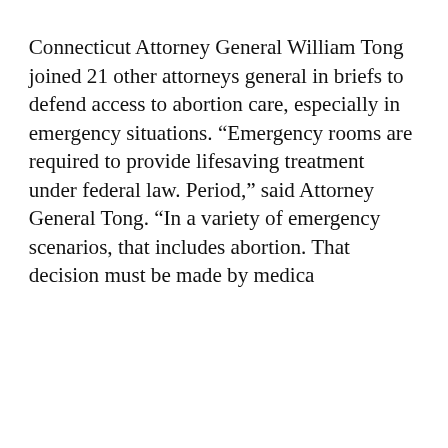Connecticut Attorney General William Tong joined 21 other attorneys general in briefs to defend access to abortion care, especially in emergency situations. “Emergency rooms are required to provide lifesaving treatment under federal law. Period,” said Attorney General Tong. “In a variety of emergency scenarios, that includes abortion. That decision must be made by medica…
Keep reading
by Christine Stuart
[Figure (screenshot): Popup video overlay showing solar panels with title 'Blumenthal, Larson Tout Energy Inv...' and a close button X. Below the video frame is a caption with red text 'BLUMENTHAL,' followed by 'LARSON TOUT ENERGY INVESTMENTS AT EAST WINDSOR SOLAR ARRAY | CT NEWS JUNKIE'. A mute button (speaker with X) appears over the video.]
[Figure (photo): Partial bottom-left photo showing trees and what appears to be a building or sign partially visible.]